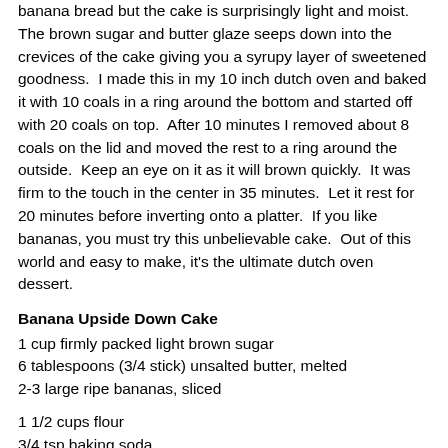banana bread but the cake is surprisingly light and moist. The brown sugar and butter glaze seeps down into the crevices of the cake giving you a syrupy layer of sweetened goodness.  I made this in my 10 inch dutch oven and baked it with 10 coals in a ring around the bottom and started off with 20 coals on top.  After 10 minutes I removed about 8 coals on the lid and moved the rest to a ring around the outside.  Keep an eye on it as it will brown quickly.  It was firm to the touch in the center in 35 minutes.  Let it rest for 20 minutes before inverting onto a platter.  If you like bananas, you must try this unbelievable cake.  Out of this world and easy to make, it's the ultimate dutch oven dessert.
Banana Upside Down Cake
1 cup firmly packed light brown sugar
6 tablespoons (3/4 stick) unsalted butter, melted
2-3 large ripe bananas, sliced
1 1/2 cups flour
3/4 tsp baking soda
1/2 tsp baking powder
1/2 tsp salt
1 ... baking ... (about 2)